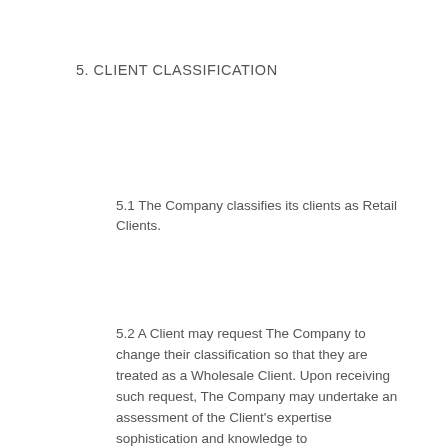5. CLIENT CLASSIFICATION
5.1 The Company classifies its clients as Retail Clients.
5.2 A Client may request The Company to change their classification so that they are treated as a Wholesale Client. Upon receiving such request, The Company may undertake an assessment of the Client's expertise sophistication and knowledge to